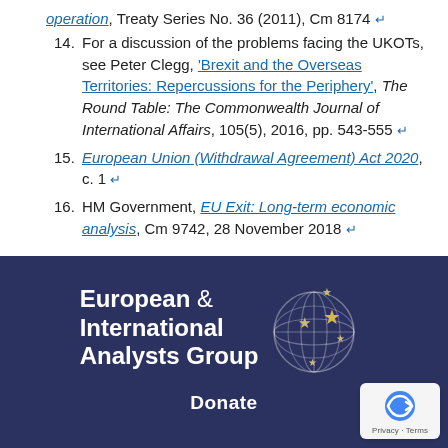[partial] operation, Treaty Series No. 36 (2011), Cm 8174 ↩
14. For a discussion of the problems facing the UKOTs, see Peter Clegg, 'Brexit and the Overseas Territories: Repercussions for the Periphery', The Round Table: The Commonwealth Journal of International Affairs, 105(5), 2016, pp. 543-555 ↩
15. European Union (Withdrawal Agreement) Act 2020, c. 1 ↩
16. HM Government, EU Exit: Long-term economic analysis, Cm 9742, 28 November 2018 ↩
[Figure (logo): European & International Analysts Group logo with globe graphic on dark navy background, and a Donate label below]